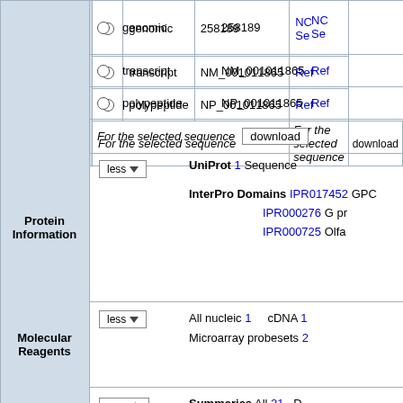|  |  | type | id | link |
| --- | --- | --- | --- | --- |
|  | ○ | genomic | 258189 | NC... Se... |
|  | ○ | transcript | NM_001011865 | Ref... |
|  | ○ | polypeptide | NP_001011865 | Ref... |
|  |  | For the selected sequence | download |  |
| Protein Information | less | content |
| --- | --- | --- |
| UniProt | 1 Sequence |  |
| InterPro Domains | IPR017452 GPC... | IPR000276 G pr... IPR000725 Olfa... |
| Molecular Reagents | less | content |
| --- | --- | --- |
|  | All nucleic 1 | cDNA 1 | Microarray probesets 2 |
| References | more | Summaries |
| --- | --- | --- |
|  | All 21 | D... | Gene Ontology 2 |
Contributing Projects:
  Mouse Genome Database (MGD), Gene Expression Database (GXD), Mouse Models of Human...
  Gene Ontology (GO)
Citing These Resources
Funding Information
Warranty Disclaimer & Copyright Notice
Send questions and comments to User Support.
last database update
08/09/2022
MGI 6.21